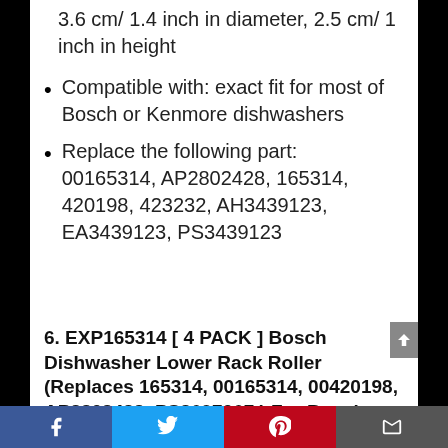3.6 cm/ 1.4 inch in diameter, 2.5 cm/ 1 inch in height
Compatible with: exact fit for most of Bosch or Kenmore dishwashers
Replace the following part: 00165314, AP2802428, 165314, 420198, 423232, AH3439123, EA3439123, PS3439123
6. EXP165314 [ 4 PACK ] Bosch Dishwasher Lower Rack Roller (Replaces 165314, 00165314, 00420198, AP2802428, PS8697067 ) For Bosch, Kenmore, Gaggenau